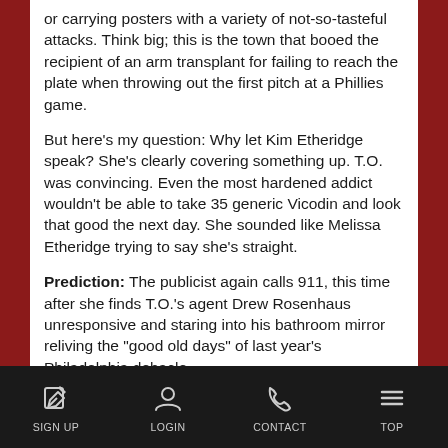or carrying posters with a variety of not-so-tasteful attacks. Think big; this is the town that booed the recipient of an arm transplant for failing to reach the plate when throwing out the first pitch at a Phillies game.
But here's my question: Why let Kim Etheridge speak? She's clearly covering something up. T.O. was convincing. Even the most hardened addict wouldn't be able to take 35 generic Vicodin and look that good the next day. She sounded like Melissa Etheridge trying to say she's straight.
Prediction: The publicist again calls 911, this time after she finds T.O.'s agent Drew Rosenhaus unresponsive and staring into his bathroom mirror reliving the "good old days" of last year's Philadelphia debacle.
Jordan: Killing oneself is an awfully powerful concept to manifest. And leave it to the media to invoke this
SIGN UP   LOGIN   CONTACT   TOP